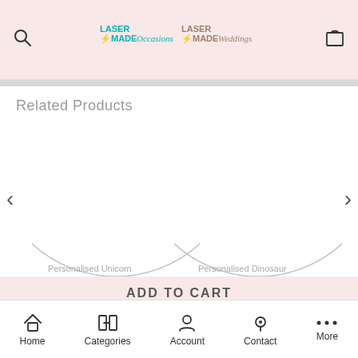[Figure (logo): Laser Made Occasions and Laser Made Weddings logos on pink header]
Related Products
[Figure (screenshot): Product carousel showing two partially visible circular product images with left and right navigation arrows]
ADD TO CART
Personalised Unicorn
Personalised Dinosaur
[Figure (other): Bottom navigation bar with Home, Categories, Account, Contact, More icons]